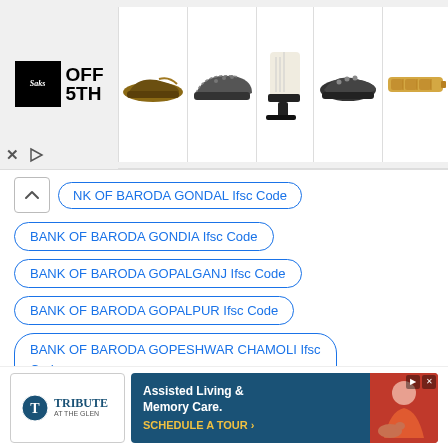[Figure (screenshot): Saks OFF 5TH advertisement banner with logo and images of shoes and accessories on a light gray background]
NK OF BARODA GONDAL Ifsc Code
BANK OF BARODA GONDIA Ifsc Code
BANK OF BARODA GOPALGANJ Ifsc Code
BANK OF BARODA GOPALPUR Ifsc Code
BANK OF BARODA GOPESHWAR CHAMOLI Ifsc Code
BANK OF BARODA GOPIGANJ Ifsc Code
[Figure (screenshot): Tribute at the Glen advertisement for Assisted Living & Memory Care with Schedule a Tour call-to-action]